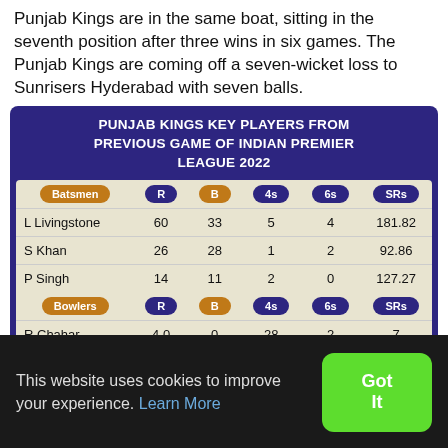Punjab Kings are in the same boat, sitting in the seventh position after three wins in six games. The Punjab Kings are coming off a seven-wicket loss to Sunrisers Hyderabad with seven balls.
| Batsmen | R | B | 4s | 6s | SRs |
| --- | --- | --- | --- | --- | --- |
| L Livingstone | 60 | 33 | 5 | 4 | 181.82 |
| S Khan | 26 | 28 | 1 | 2 | 92.86 |
| P Singh | 14 | 11 | 2 | 0 | 127.27 |
| Bowlers | R | B | 4s | 6s | SRs |
| R Chahar | 4.0 | 0 | 28 | 2 | 7 |
This website uses cookies to improve your experience. Learn More